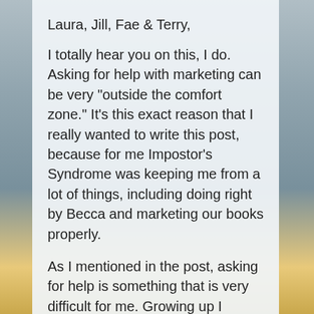Laura, Jill, Fae & Terry,
I totally hear you on this, I do. Asking for help with marketing can be very "outside the comfort zone." It's this exact reason that I really wanted to write this post, because for me Impostor's Syndrome was keeping me from a lot of things, including doing right by Becca and marketing our books properly.
As I mentioned in the post, asking for help is something that is very difficult for me. Growing up I always felt I didn't have anyone in my corner--no one to advocate for me. Being disappointed time and again taught me to not rely on others who wouldn't come through and dealing